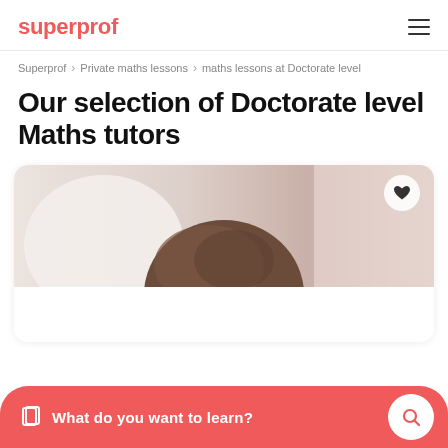superprof
Superprof › Private maths lessons › maths lessons at Doctorate level
Our selection of Doctorate level Maths tutors
[Figure (photo): Photo showing the top of a person's head with brown hair, with a heart/favorite button in the top right corner of the card]
What do you want to learn?